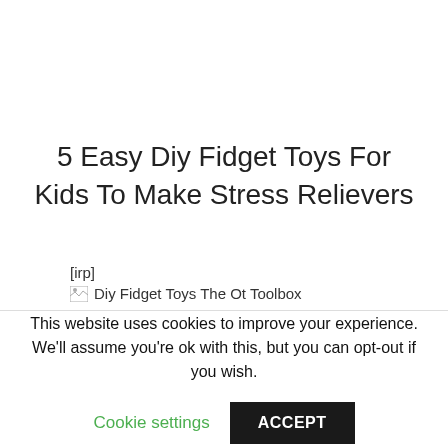5 Easy Diy Fidget Toys For Kids To Make Stress Relievers
[irp]
[Figure (other): Broken image placeholder with alt text: Diy Fidget Toys The Ot Toolbox]
This website uses cookies to improve your experience. We'll assume you're ok with this, but you can opt-out if you wish.
Cookie settings
ACCEPT